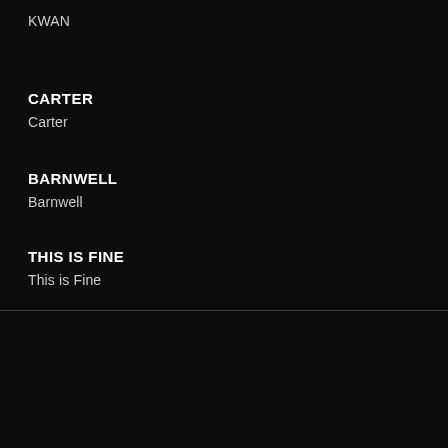KWAN
CARTER
Carter
BARNWELL
Barnwell
THIS IS FINE
This is Fine
2015
CRUNCH CRACKLE DIE
Crunch Crackle Die